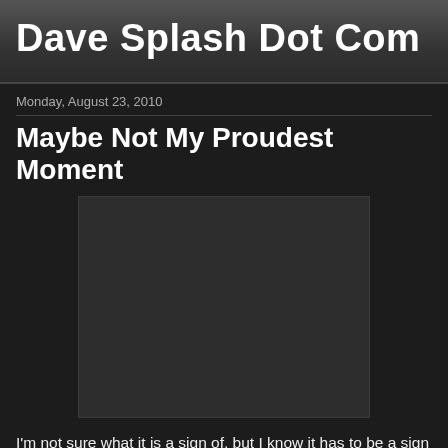Dave Splash Dot Com
Monday, August 23, 2010
Maybe Not My Proudest Moment
[Figure (photo): Dark/black embedded media placeholder image]
I'm not sure what it is a sign of, but I know it has to be a sign of something. I've had a few lackluster weekends of late (no plans, no events) and I've had a good time of use for something